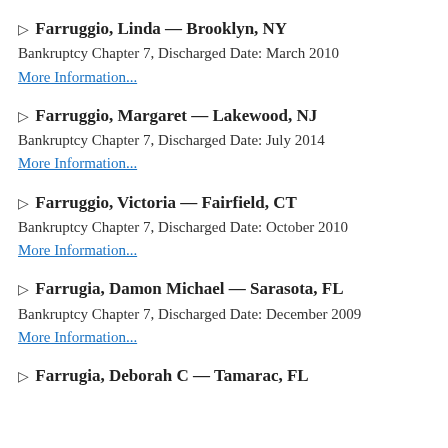▷ Farruggio, Linda — Brooklyn, NY
Bankruptcy Chapter 7, Discharged Date: March 2010
More Information...
▷ Farruggio, Margaret — Lakewood, NJ
Bankruptcy Chapter 7, Discharged Date: July 2014
More Information...
▷ Farruggio, Victoria — Fairfield, CT
Bankruptcy Chapter 7, Discharged Date: October 2010
More Information...
▷ Farrugia, Damon Michael — Sarasota, FL
Bankruptcy Chapter 7, Discharged Date: December 2009
More Information...
▷ Farrugia, Deborah C — Tamarac, FL